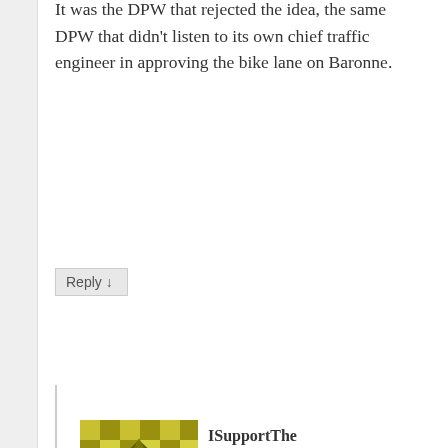It was the DPW that rejected the idea, the same DPW that didn't listen to its own chief traffic engineer in approving the bike lane on Baronne.
Reply ↓
ISupportThe BikeLane on October 20, 2014 at 5:08 pm said:
I tend to agree with the determination, regardless. As with all decisions, the input of all the stakeholders was taken under advisement and DPW made the